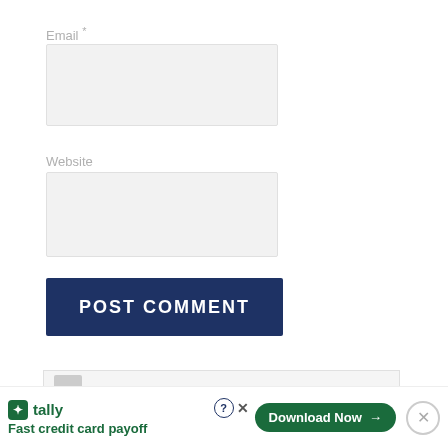Email *
[Figure (screenshot): Empty email input field, light gray background]
Website
[Figure (screenshot): Empty website input field, light gray background]
POST COMMENT
[Figure (screenshot): Widget box with bookmark icon and STAY UPDATED! text]
[Figure (screenshot): Tally advertisement bar: Fast credit card payoff, Download Now button]